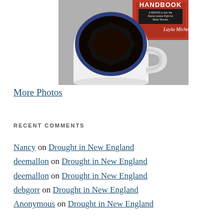[Figure (photo): A white coffee mug with dark interior filled with black coffee, with a red book titled 'Handbook' by Layla Michelle visible in the background on a grey surface.]
More Photos
RECENT COMMENTS
Nancy on Drought in New England
deemallon on Drought in New England
deemallon on Drought in New England
debgorr on Drought in New England
Anonymous on Drought in New England